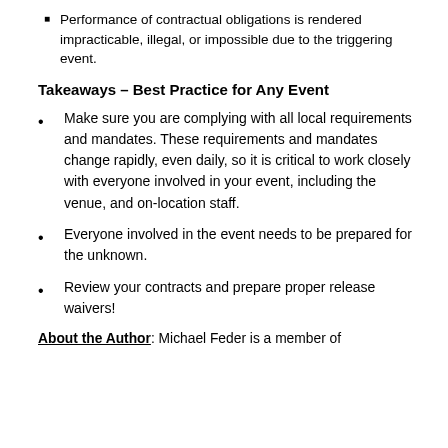Performance of contractual obligations is rendered impracticable, illegal, or impossible due to the triggering event.
Takeaways – Best Practice for Any Event
Make sure you are complying with all local requirements and mandates. These requirements and mandates change rapidly, even daily, so it is critical to work closely with everyone involved in your event, including the venue, and on-location staff.
Everyone involved in the event needs to be prepared for the unknown.
Review your contracts and prepare proper release waivers!
About the Author: Michael Feder is a member of